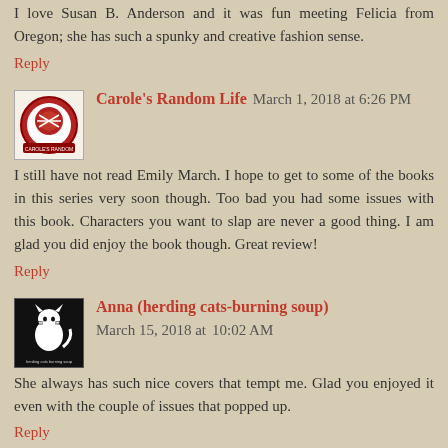I love Susan B. Anderson and it was fun meeting Felicia from Oregon; she has such a spunky and creative fashion sense.
Reply
Carole's Random Life  March 1, 2018 at 6:26 PM
I still have not read Emily March. I hope to get to some of the books in this series very soon though. Too bad you had some issues with this book. Characters you want to slap are never a good thing. I am glad you did enjoy the book though. Great review!
Reply
Anna (herding cats-burning soup)  March 15, 2018 at 10:02 AM
She always has such nice covers that tempt me. Glad you enjoyed it even with the couple of issues that popped up.
Reply